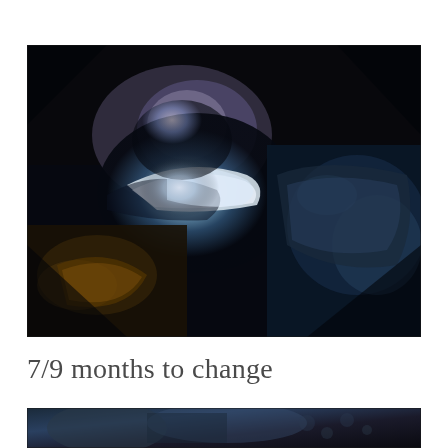[Figure (photo): Dark, moody close-up photograph of what appears to be crumpled dark fabric or clothing with some illuminated bright areas showing blue-white light in the center. The image is mostly dark with contrasting lit areas.]
7/9 months to change
[Figure (photo): Partial view of another dark photograph, showing blue tones with some decorative elements, cropped at the bottom of the page.]